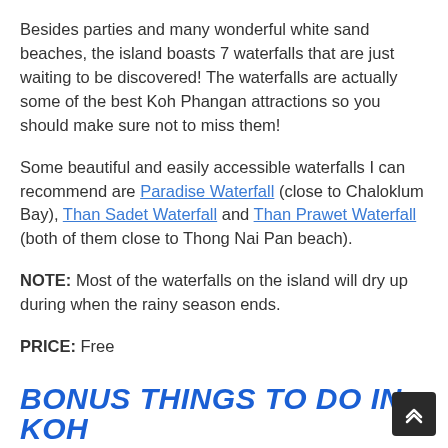Besides parties and many wonderful white sand beaches, the island boasts 7 waterfalls that are just waiting to be discovered! The waterfalls are actually some of the best Koh Phangan attractions so you should make sure not to miss them!
Some beautiful and easily accessible waterfalls I can recommend are Paradise Waterfall (close to Chaloklum Bay), Than Sadet Waterfall and Than Prawet Waterfall (both of them close to Thong Nai Pan beach).
NOTE: Most of the waterfalls on the island will dry up during when the rainy season ends.
PRICE: Free
BONUS THINGS TO DO IN KOH